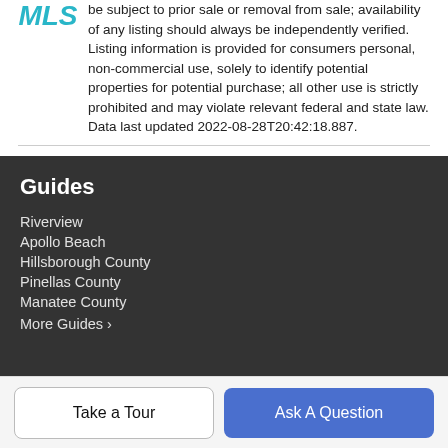be subject to prior sale or removal from sale; availability of any listing should always be independently verified. Listing information is provided for consumers personal, non-commercial use, solely to identify potential properties for potential purchase; all other use is strictly prohibited and may violate relevant federal and state law. Data last updated 2022-08-28T20:42:18.887.
Guides
Riverview
Apollo Beach
Hillsborough County
Pinellas County
Manatee County
More Guides ›